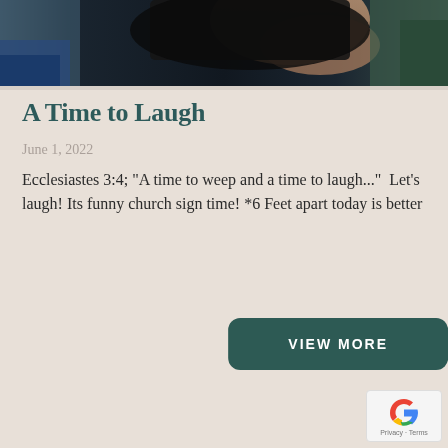[Figure (photo): Partial photo of a person lying down, dark hair visible, wearing a blue patterned garment, background with dark and floral tones]
A Time to Laugh
June 1, 2022
Ecclesiastes 3:4; "A time to weep and a time to laugh..."  Let's laugh! Its funny church sign time! *6 Feet apart today is better
VIEW MORE